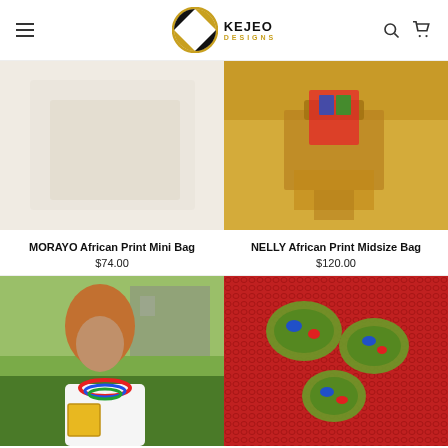[Figure (logo): Kejeo Designs logo with circular K D monogram in black and gold, and text KEJEO DESIGNS in black and gold]
[Figure (photo): Close-up of a light-colored fabric bag on white/marble background - MORAYO African Print Mini Bag]
[Figure (photo): Person wearing yellow top and shorts holding or displaying a colorful African print bag - NELLY African Print Midsize Bag]
MORAYO African Print Mini Bag
$74.00
NELLY African Print Midsize Bag
$120.00
[Figure (photo): Woman with curly auburn hair wearing white top and colorful African beaded necklace, holding a yellow-framed item]
[Figure (photo): Close-up of colorful African print fabric/bag in red with green floral pattern and blue accents]